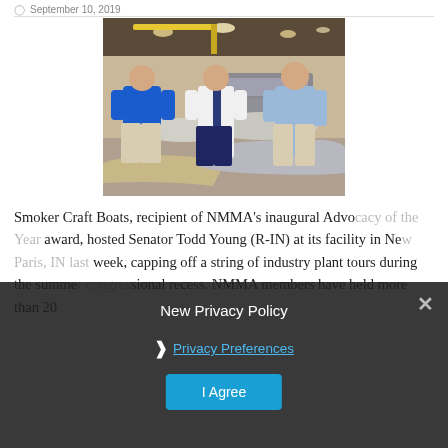September 10, 2019
[Figure (photo): Three men standing inside a boat manufacturing facility warehouse. The man on the left wears a blue polo shirt. The man in the center wears a white shirt, dark tie, and dark trousers. The man on the right wears a light blue long-sleeve shirt. Rows of boat hulls and industrial equipment visible in the background.]
Smoker Craft Boats, recipient of NMMA's inaugural Advocacy of the Year award, hosted Senator Todd Young (R-IN) at its facility in New Paris, IN last week, capping off a string of industry plant tours during the summer congressional recess. NMMA members have held more than 20
New Privacy Policy
Privacy Preferences
I Agree